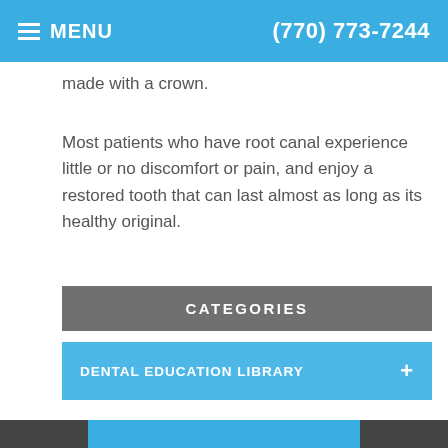MENU  (770) 773-7244
made with a crown.
Most patients who have root canal experience little or no discomfort or pain, and enjoy a restored tooth that can last almost as long as its healthy original.
CATEGORIES
DENTAL EDUCATION LIBRARY